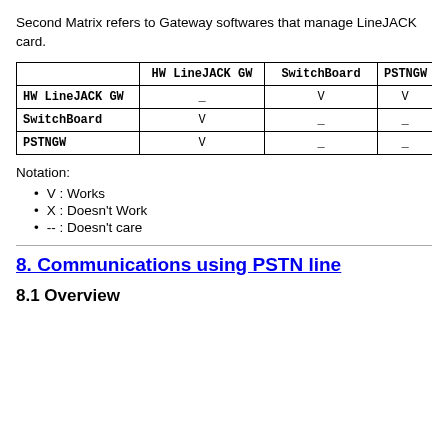Second Matrix refers to Gateway softwares that manage LineJACK card.
|  | HW LineJACK GW | SwitchBoard | PSTNGW |
| --- | --- | --- | --- |
| HW LineJACK GW | _ | V | V |
| SwitchBoard | V | _ | _ |
| PSTNGW | V | _ | _ |
Notation:
V : Works
X : Doesn't Work
-- : Doesn't care
8. Communications using PSTN line
8.1 Overview